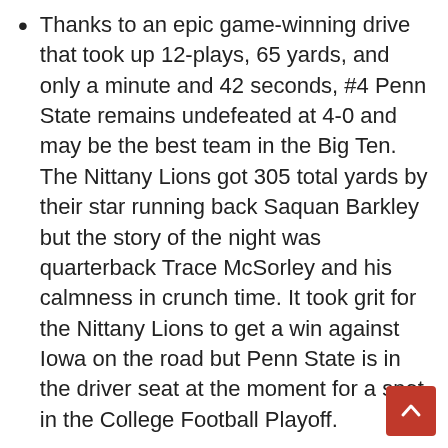Thanks to an epic game-winning drive that took up 12-plays, 65 yards, and only a minute and 42 seconds, #4 Penn State remains undefeated at 4-0 and may be the best team in the Big Ten. The Nittany Lions got 305 total yards by their star running back Saquan Barkley but the story of the night was quarterback Trace McSorley and his calmness in crunch time. It took grit for the Nittany Lions to get a win against Iowa on the road but Penn State is in the driver seat at the moment for a spot in the College Football Playoff.
I was somewhat tentative about placing #24 Mississippi State on a particular pedestal after their 37-7 win over LSU in week three. While it